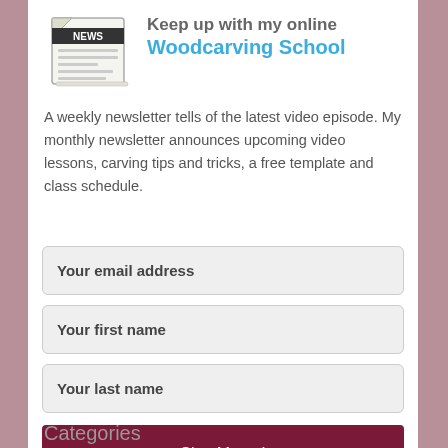[Figure (illustration): Newspaper illustration with 'NEWS' text on the front page]
Keep up with my online Woodcarving School
A weekly newsletter tells of the latest video episode. My monthly newsletter announces upcoming video lessons, carving tips and tricks, a free template and class schedule.
Your email address
Your first name
Your last name
Sign Me up!
Categories